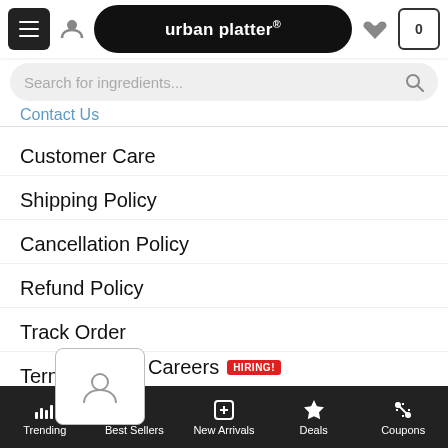urban platter® — navigation header with hamburger menu, user icon, logo, heart icon, cart (0)
USEFUL LINKS
About Us
Search for ingredients...
Contact Us
Customer Care
Shipping Policy
Cancellation Policy
Refund Policy
Track Order
Terms of Use
Privacy Policy
Careers HIRING!
Sitemap
Trending | Best Sellers | New Arrivals | Deals | Coupons